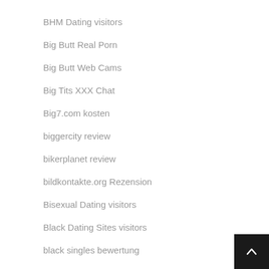BHM Dating visitors
Big Butt Real Porn
Big Butt Web Cams
Big Tits XXX Chat
Big7.com kosten
biggercity review
bikerplanet review
bildkontakte.org Rezension
Bisexual Dating visitors
Black Dating Sites visitors
black singles bewertung
black singles come funziona
blackcupid dating